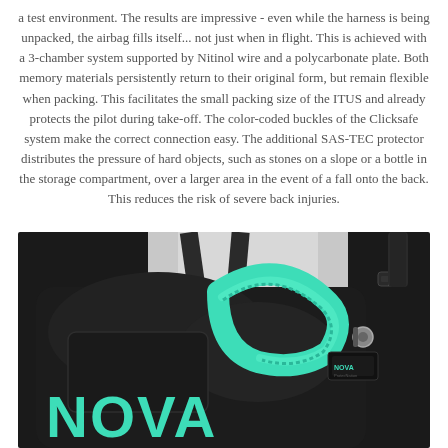a test environment. The results are impressive - even while the harness is being unpacked, the airbag fills itself... not just when in flight. This is achieved with a 3-chamber system supported by Nitinol wire and a polycarbonate plate. Both memory materials persistently return to their original form, but remain flexible when packing. This facilitates the small packing size of the ITUS and already protects the pilot during take-off. The color-coded buckles of the Clicksafe system make the correct connection easy. The additional SAS-TEC protector distributes the pressure of hard objects, such as stones on a slope or a bottle in the storage compartment, over a larger area in the event of a fall onto the back. This reduces the risk of severe back injuries.
[Figure (photo): Close-up photo of a black paragliding harness/backpack with teal/mint green NOVA branding and teal straps or handle visible. The harness is shown against a light background with visible buckles and zippers.]